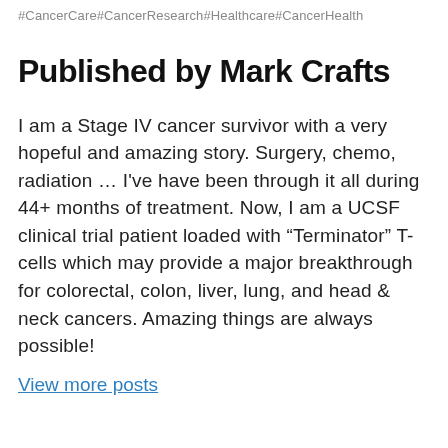#CancerCare#CancerResearch#Healthcare#CancerHealth
Published by Mark Crafts
I am a Stage IV cancer survivor with a very hopeful and amazing story. Surgery, chemo, radiation … I've have been through it all during 44+ months of treatment. Now, I am a UCSF clinical trial patient loaded with “Terminator” T-cells which may provide a major breakthrough for colorectal, colon, liver, lung, and head & neck cancers. Amazing things are always possible!
View more posts